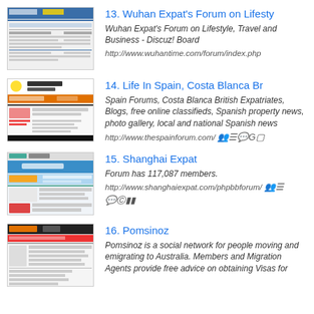13. Wuhan Expat's Forum on Lifesty
Wuhan Expat's Forum on Lifestyle, Travel and Business - Discuz! Board
http://www.wuhantime.com/forum/index.php
14. Life In Spain, Costa Blanca Br
Spain Forums, Costa Blanca British Expatriates, Blogs, free online classifieds, Spanish property news, photo gallery, local and national Spanish news
http://www.thespainforum.com/
15. Shanghai Expat
Forum has 117,087 members.
http://www.shanghaiexpat.com/phpbbforum/
16. Pomsinoz
Pomsinoz is a social network for people moving and emigrating to Australia. Members and Migration Agents provide free advice on obtaining Visas for